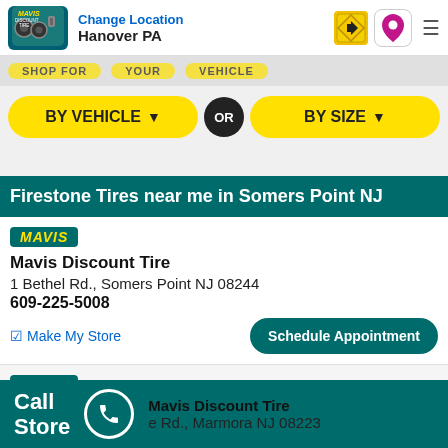Change Location | Hanover PA
[Figure (screenshot): Shop for tires label (partially hidden)]
BY VEHICLE ▼  OR  BY SIZE ▼
Firestone Tires near me in Somers Point NJ
[Figure (logo): Mavis badge/logo]
Mavis Discount Tire
1 Bethel Rd., Somers Point NJ 08244
609-225-5008
✓ Make My Store   Schedule Appointment
[Figure (logo): Mavis badge/logo second store]
Mavis Discount Tire
... e Rd., Marmora NJ 08223
Call Store